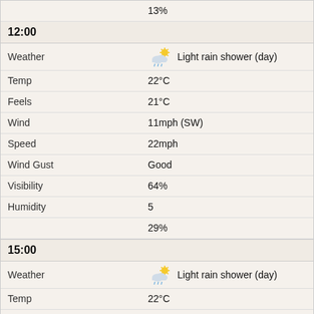|  |  |
| --- | --- |
|  | 13% |
| 12:00 |  |
| Weather | Light rain shower (day) |
| Temp | 22°C |
| Feels | 21°C |
| Wind | 11mph (SW) |
| Speed | 22mph |
| Wind Gust | Good |
| Visibility | 64% |
| Humidity | 5 |
|  | 29% |
| 15:00 |  |
| Weather | Light rain shower (day) |
| Temp | 22°C |
| Feels | 21°C |
| Wind | 7mph (W) |
| Speed | 18mph |
| Wind Gust | Good |
| Visibility | 66% |
| Humidity | 3 |
|  | 30% |
| 18:00 |  |
| Weather | Sunny intervals |
| Temp | 21°C |